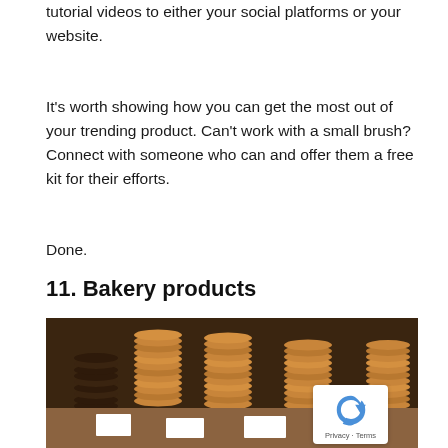tutorial videos to either your social platforms or your website.
It's worth showing how you can get the most out of your trending product. Can't work with a small brush? Connect with someone who can and offer them a free kit for their efforts.
Done.
11. Bakery products
[Figure (photo): Stacks of round cookies/biscuits displayed on wooden shelves at a bakery, with small price tags in front of them.]